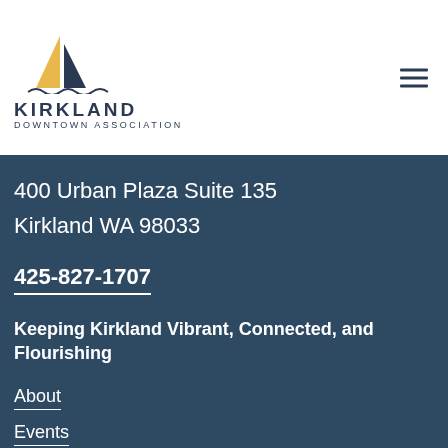[Figure (logo): Kirkland Downtown Association logo with sailboat graphic and wavy underline, text KIRKLAND DOWNTOWN ASSOCIATION]
400 Urban Plaza Suite 135
Kirkland WA 98033
425-827-1707
Keeping Kirkland Vibrant, Connected, and Flourishing
About
Events
Donate
Sponsor